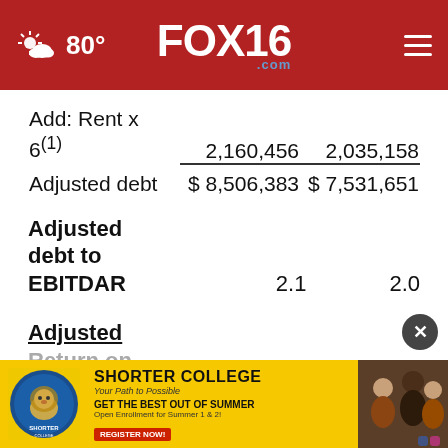FOX16.com — 80°
|  | Col1 | Col2 |
| --- | --- | --- |
| Add: Rent x 6(1) | 2,160,456 | 2,035,158 |
| Adjusted debt | $ 8,506,383 | $ 7,531,651 |
|  | Col1 | Col2 |
| --- | --- | --- |
| Adjusted debt to EBITDAR | 2.1 | 2.0 |
Adjusted
Return on
Inves...
[Figure (screenshot): Shorter College advertisement banner with yellow background, college logo, and students photo]